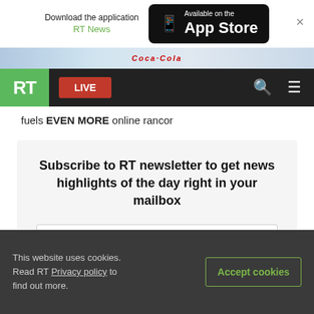[Figure (screenshot): App download banner with RT News and App Store button]
[Figure (photo): Partial image strip showing sports/Coca-Cola imagery]
[Figure (screenshot): RT website navigation bar with green RT logo, red LIVE button, search and menu icons]
fuels EVEN MORE online rancor
Subscribe to RT newsletter to get news highlights of the day right in your mailbox
E-mail
This website uses cookies. Read RT Privacy policy to find out more.
Accept cookies